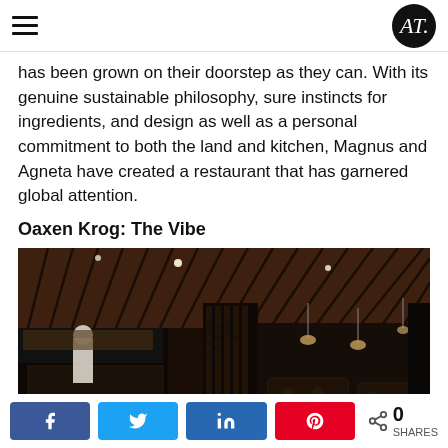AT logo and hamburger menu
has been grown on their doorstep as they can. With its genuine sustainable philosophy, sure instincts for ingredients, and design as well as a personal commitment to both the land and kitchen, Magnus and Agneta have created a restaurant that has garnered global attention.
Oaxen Krog: The Vibe
[Figure (photo): Interior of Oaxen Krog restaurant showing dark wood paneling, slatted wooden ceiling with pendant lights, open kitchen with chef, and elegant dining room with wine display wall.]
Social share buttons: Facebook, Twitter, LinkedIn, Pinterest. 0 SHARES